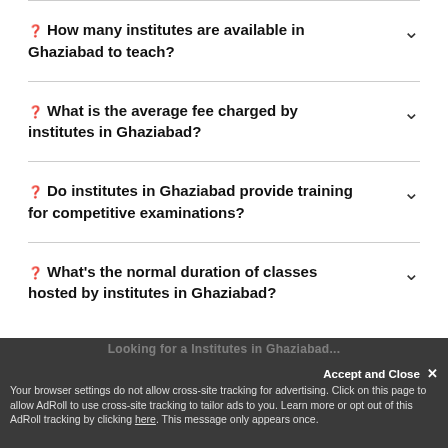❓ How many institutes are available in Ghaziabad to teach?
❓ What is the average fee charged by institutes in Ghaziabad?
❓ Do institutes in Ghaziabad provide training for competitive examinations?
❓ What's the normal duration of classes hosted by institutes in Ghaziabad?
Looking for a Institutes in Ghaziabad...
Accept and Close ✕
Your browser settings do not allow cross-site tracking for advertising. Click on this page to allow AdRoll to use cross-site tracking to tailor ads to you. Learn more or opt out of this AdRoll tracking by clicking here. This message only appears once.